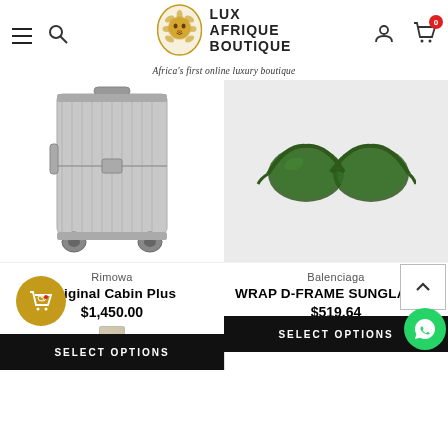LUX AFRIQUE BOUTIQUE — Africa's first online luxury boutique
[Figure (photo): Silver Rimowa hard-shell luggage suitcase on white background]
Rimowa
Original Cabin Plus
$1,450.00
[Figure (photo): Balenciaga dark green wrap D-frame sunglasses on light grey background]
Balenciaga
WRAP D-FRAME SUNGLASS...
$519.64
SELECT OPTIONS
SELECT OPTIONS